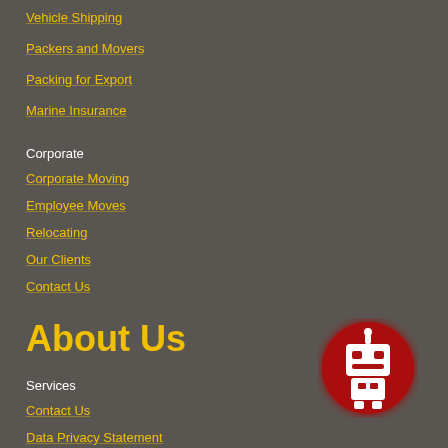Vehicle Shipping
Packers and Movers
Packing for Export
Marine Insurance
Corporate
Corporate Moving
Employee Moves
Relocating
Our Clients
Contact Us
About Us
Services
Contact Us
Data Privacy Statement
Data Protection Policy
Company Brochure Library
[Figure (illustration): Red circular button with a white robot icon (chatbot button)]